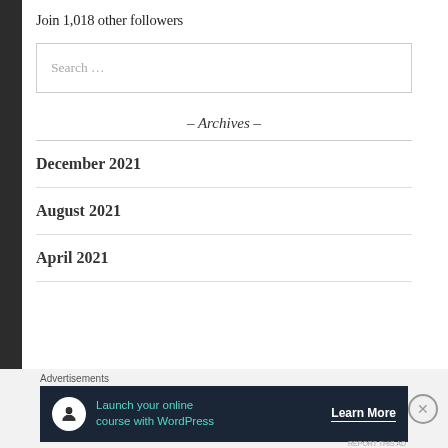Join 1,018 other followers
Search …
- Archives -
December 2021
August 2021
April 2021
Advertisements
[Figure (infographic): Advertisement banner: dark navy background, circular white icon with person/graduation figure, teal text 'Launch your online course with WordPress', white bold 'Learn More' button text with underline]